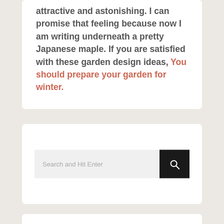attractive and astonishing. I can promise that feeling because now I am writing underneath a pretty Japanese maple. If you are satisfied with these garden design ideas, You should prepare your garden for winter.
[Figure (other): Search bar widget with text input field showing placeholder 'Search and Hit Enter' and a black search button with magnifying glass icon]
RECENT POSTS